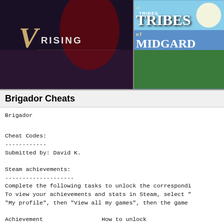[Figure (screenshot): V Rising game banner image showing dark fantasy character with red cape on dark background with V Rising logo]
[Figure (screenshot): Tribes of Midgard game banner with colorful fantasy landscape and Tribes of Midgard logo]
Brigador Cheats
Brigador

Cheat Codes:
------------
Submitted by: David K.

Steam achievements:
--------------------
Complete the following tasks to unlock the correspondi
To view your achievements and stats in Steam, select "
My profile", then "View all my games", then the game

Achievement                 How to unlock
--------------------------------------------------
Blood Money               - Complete KNIFE CHASE in less
Original Contract Pt. 1 - Complete FLY BLACKBIRD with
Original Contract Pt. 2 - Complete a level at 100% spe
Slo-Mo Inhaler            - Complete a level at 50% spee
Terms and Conditions      - Complete AWAKE ON FOREIGN SH
Welcome, Brigador.        - Complete TURN IT OUT in Camp